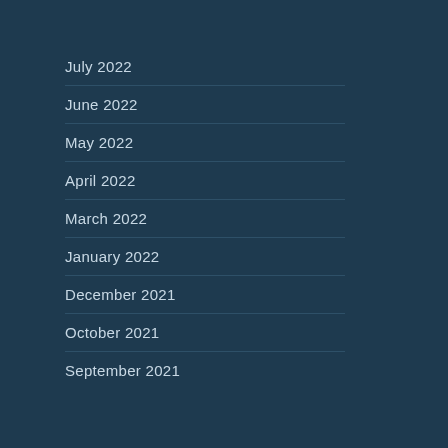July 2022
June 2022
May 2022
April 2022
March 2022
January 2022
December 2021
October 2021
September 2021